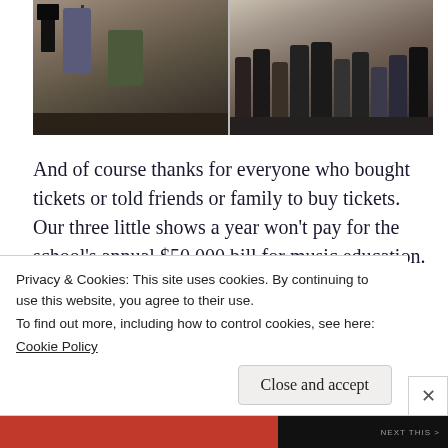[Figure (photo): Two-panel photograph: left panel shows musicians performing on stage (singer at microphone, guitarist seated); right panel shows a group of people posing together for a photo, including adults and youth.]
And of course thanks for everyone who bought tickets or told friends or family to buy tickets. Our three little shows a year won't pay for the school's annual $50,000 bill for music education. (Last year, we donated just over $10
Privacy & Cookies: This site uses cookies. By continuing to use this website, you agree to their use.
To find out more, including how to control cookies, see here:
Cookie Policy
Close and accept